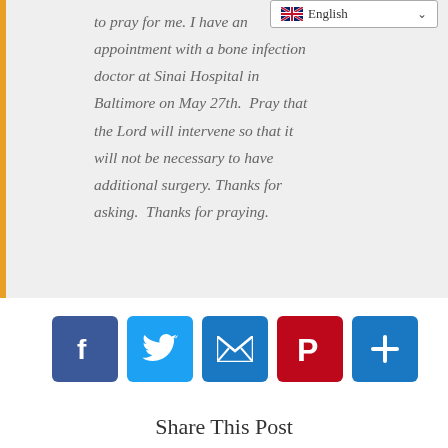to pray for me. I have an appointment with a bone infection doctor at Sinai Hospital in Baltimore on May 27th. Pray that the Lord will intervene so that it will not be necessary to have additional surgery. Thanks for asking. Thanks for praying.
[Figure (infographic): Social sharing buttons: Facebook, Twitter, Email, Pinterest, Share/Plus]
Share This Post